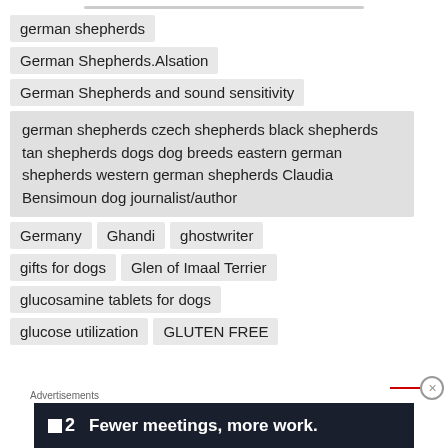german shepherds
German Shepherds.Alsation
German Shepherds and sound sensitivity
german shepherds czech shepherds black shepherds tan shepherds dogs dog breeds eastern german shepherds western german shepherds Claudia Bensimoun dog journalist/author
Germany
Ghandi
ghostwriter
gifts for dogs
Glen of Imaal Terrier
glucosamine tablets for dogs
glucose utilization
GLUTEN FREE
Advertisements
[Figure (other): Advertisement banner: logo '2' (with small square icon) and text 'Fewer meetings, more work.']